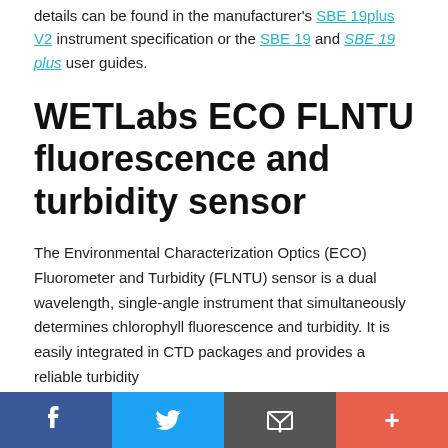details can be found in the manufacturer's SBE 19plus V2 instrument specification or the SBE 19 and SBE 19 plus user guides.
WETLabs ECO FLNTU fluorescence and turbidity sensor
The Environmental Characterization Optics (ECO) Fluorometer and Turbidity (FLNTU) sensor is a dual wavelength, single-angle instrument that simultaneously determines chlorophyll fluorescence and turbidity. It is easily integrated in CTD packages and provides a reliable turbidity